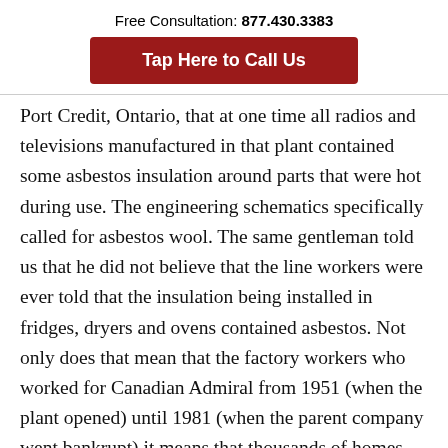Free Consultation: 877.430.3383
[Figure (other): Red button with text 'Tap Here to Call Us']
Port Credit, Ontario, that at one time all radios and televisions manufactured in that plant contained some asbestos insulation around parts that were hot during use. The engineering schematics specifically called for asbestos wool. The same gentleman told us that he did not believe that the line workers were ever told that the insulation being installed in fridges, dryers and ovens contained asbestos. Not only does that mean that the factory workers who worked for Canadian Admiral from 1951 (when the plant opened) until 1981 (when the parent company went bankrupt) it means that thousands of homes